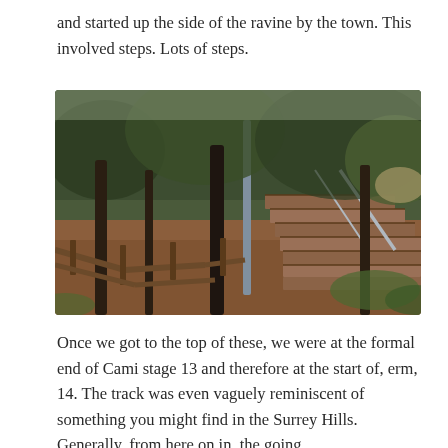and started up the side of the ravine by the town. This involved steps. Lots of steps.
[Figure (photo): A forest path with rustic wooden railings on the left side and stone steps with a metal handrail on the right side, surrounded by trees and undergrowth on a hillside.]
Once we got to the top of these, we were at the formal end of Cami stage 13 and therefore at the start of, erm, 14. The track was even vaguely reminiscent of something you might find in the Surrey Hills. Generally, from here on in, the going